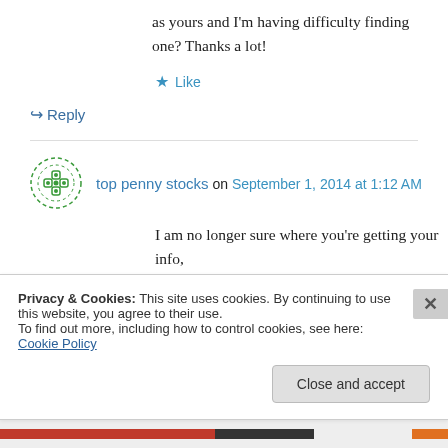as yours and I'm having difficulty finding one? Thanks a lot!
★ Like
↪ Reply
top penny stocks on September 1, 2014 at 1:12 AM
I am no longer sure where you're getting your info,
however good topic. I needs to spend a while
Privacy & Cookies: This site uses cookies. By continuing to use this website, you agree to their use. To find out more, including how to control cookies, see here: Cookie Policy
Close and accept